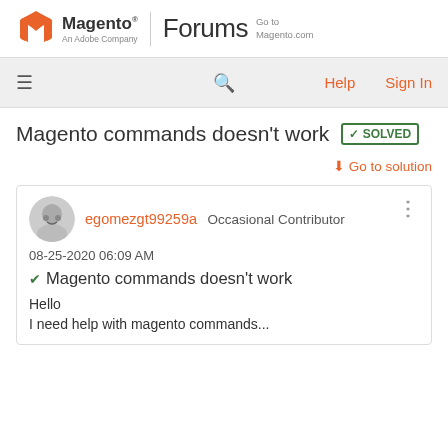Magento Forums — Go to Magento.com
[Figure (logo): Magento logo (orange M icon) with text 'Magento An Adobe Company | Forums  Go to Magento.com']
Magento commands doesn't work  ✅ SOLVED
↓ Go to solution
egomezgt99259a  Occasional Contributor
08-25-2020 06:09 AM
✔ Magento commands doesn't work
Hello
I need help with magento commands...